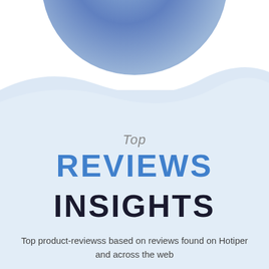[Figure (illustration): Decorative blue circle partially visible at top of page with a light blue wavy background filling the lower portion of the page]
Top REVIEWS INSIGHTS
Top product-reviewss based on reviews found on Hotiper and across the web